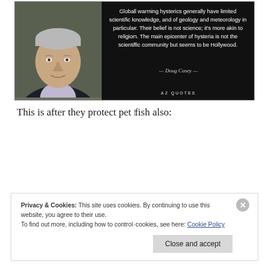[Figure (photo): Black background quote card with a photo of a man (Doug Casey) on the left and a quote on the right. Quote reads: 'Global warming hysterics generally have limited scientific knowledge, and of geology and meteorology in particular. Their belief is not science; it's more akin to religion. The main epicenter of hysteria is not the scientific community but seems to be Hollywood.' Attribution: Doug Casey. Source: AZ QUOTES.]
This is after they protect pet fish also:
Privacy & Cookies: This site uses cookies. By continuing to use this website, you agree to their use.
To find out more, including how to control cookies, see here: Cookie Policy